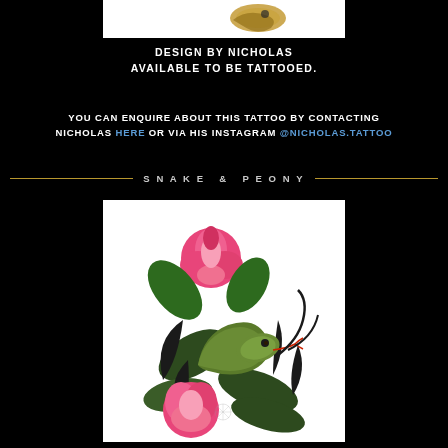[Figure (illustration): Top portion of a tattoo design illustration on white background, partially cropped at top of page]
DESIGN BY NICHOLAS
AVAILABLE TO BE TATTOOED.
YOU CAN ENQUIRE ABOUT THIS TATTOO BY CONTACTING NICHOLAS HERE OR VIA HIS INSTAGRAM @NICHOLAS.TATTOO
SNAKE & PEONY
[Figure (illustration): Tattoo flash design of a green snake coiled among pink peony flowers with dark leaves, traditional tattoo art style on white background]